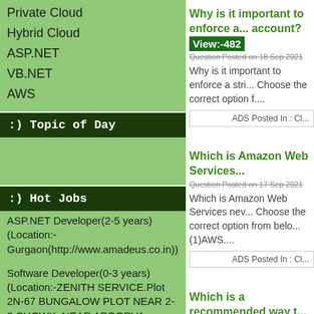Private Cloud
Hybrid Cloud
ASP.NET
VB.NET
AWS
:) Topic of Day
:) Hot Jobs
ASP.NET Developer(2-5 years) (Location:-Gurgaon(http://www.amadeus.co.in))
Software Developer(0-3 years) (Location:-ZENITH SERVICE.Plot 2N-67 BUNGALOW PLOT NEAR 2-3 CHOWK, NEAR APOORVA NURSING HOME N.I.T. FARIDABAD)
Dot Net Developer(6-7 years) (Location:-Chennai)
Why is it important to enforce a... account? View:-482
Question Posted on 18 Sep 2021
Why is it important to enforce a stri... Choose the correct option f....
ADS Posted In : Cl...
Which is Amazon Web Services...
Question Posted on 17 Sep 2021
Which is Amazon Web Services nev... Choose the correct option from belo... (1)AWS....
ADS Posted In : Cl...
Which is a recommended way t...
Question Posted on 16 Sep 2021
Which is a recommended way to...